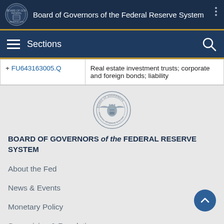Board of Governors of the Federal Reserve System
Sections
| + FU643163005.Q | Real estate investment trusts; corporate and foreign bonds; liability |
[Figure (logo): Federal Reserve Board of Governors circular seal]
BOARD OF GOVERNORS of the FEDERAL RESERVE SYSTEM
About the Fed
News & Events
Monetary Policy
Supervision & Regulation
Financial Stability